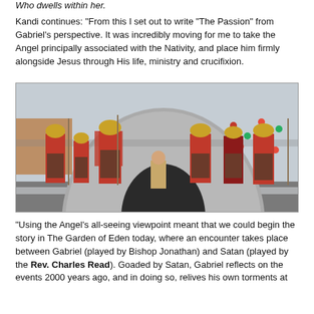Who dwells within her.
Kandi continues: "From this I set out to write "The Passion" from Gabriel's perspective. It was incredibly moving for me to take the Angel principally associated with the Nativity, and place him firmly alongside Jesus through His life, ministry and crucifixion.
[Figure (photo): Six people dressed as Roman soldiers in red tunics and gold helmets standing in front of a large dome-shaped structure. One figure in the background appears in different costume, sitting inside the dome entrance.]
“Using the Angel’s all-seeing viewpoint meant that we could begin the story in The Garden of Eden today, where an encounter takes place between Gabriel (played by Bishop Jonathan) and Satan (played by the Rev. Charles Read). Goaded by Satan, Gabriel reflects on the events 2000 years ago, and in doing so, relives his own torments at…